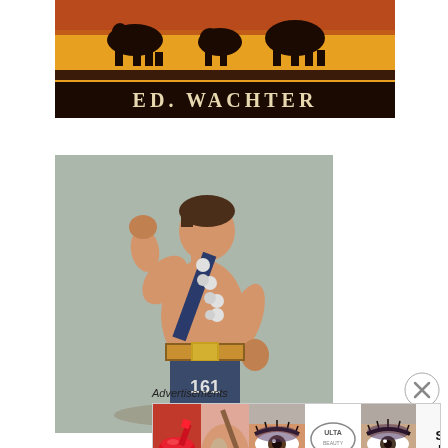[Figure (illustration): Vintage trading card showing silhouettes of animals (bison/cattle) against an orange/yellow sunset background, with the text 'ED. WACHTER' printed in white letters on a dark banner at the bottom of the card.]
[Figure (illustration): Vintage illustration/trading card of a strongman or wrestler posing with one arm raised in a fist showing his bicep, wearing dark shorts with number 161, a championship belt, and a sash of medallions across his chest. The figure stands against a muted grey-blue background.]
Advertisements
[Figure (screenshot): An advertisement banner for ULTA Beauty showing five sections: red lipstick with a brush, a makeup brush on a face, a close-up eye with dramatic makeup, the ULTA Beauty logo on white background, a second close-up eye with dramatic makeup, and a 'SHOP NOW' call to action on a white background.]